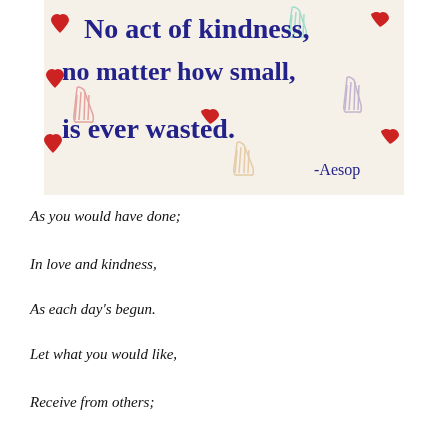[Figure (photo): Hand-drawn poster with colorful handprints and hearts, featuring the quote 'No act of kindness, no matter how small, is ever wasted. -Aesop' written in cursive script.]
As you would have done;
In love and kindness,
As each day's begun.
Let what you would like,
Receive from others;